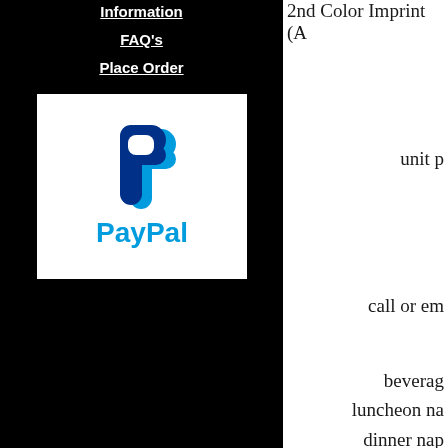Information
FAQ's
Place Order
[Figure (logo): PayPal logo with blue P symbol and PayPal text in blue]
2nd Color Imprint (A
unit p
call or em
beverag
luncheon na
dinner nap
bev
white, yellow, orange rhodamine red, lig navy blue 281, g